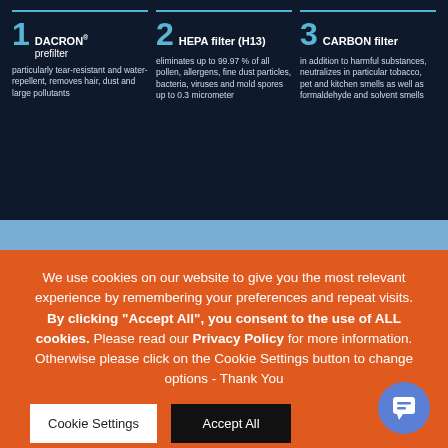[Figure (infographic): Three-column infographic showing air filter stages: 1 DACRON prefilter, 2 HEPA filter (H13), 3 CARBON filter, each with descriptions, on dark navy background]
We use cookies on our website to give you the most relevant experience by remembering your preferences and repeat visits. By clicking "Accept All", you consent to the use of ALL cookies. Please read our Privacy Policy for more information. Otherwise please click on the Cookie Settings button to change options - Thank You